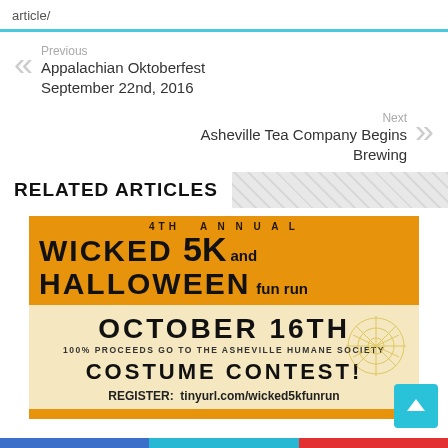article/
Previous
Appalachian Oktoberfest
September 22nd, 2016
Next
Asheville Tea Company Begins Brewing
RELATED ARTICLES
[Figure (photo): 4th Annual Wicked 5K and Halloween Fun Run event flyer. Orange and cream colored advertisement for October 16th race. 100% Proceeds go to the Asheville Humane Society. Costume Contest. Register: tinyurl.com/wicked5kfunrun]